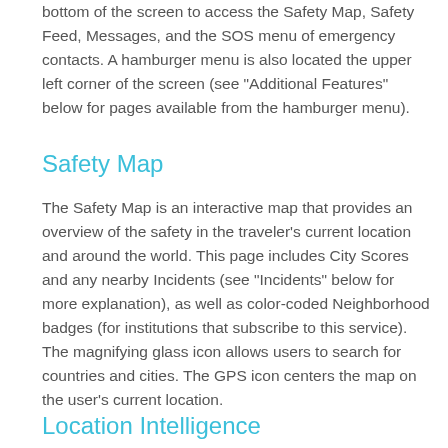bottom of the screen to access the Safety Map, Safety Feed, Messages, and the SOS menu of emergency contacts. A hamburger menu is also located the upper left corner of the screen (see "Additional Features" below for pages available from the hamburger menu).
Safety Map
The Safety Map is an interactive map that provides an overview of the safety in the traveler's current location and around the world. This page includes City Scores and any nearby Incidents (see "Incidents" below for more explanation), as well as color-coded Neighborhood badges (for institutions that subscribe to this service). The magnifying glass icon allows users to search for countries and cities. The GPS icon centers the map on the user's current location.
Location Intelligence